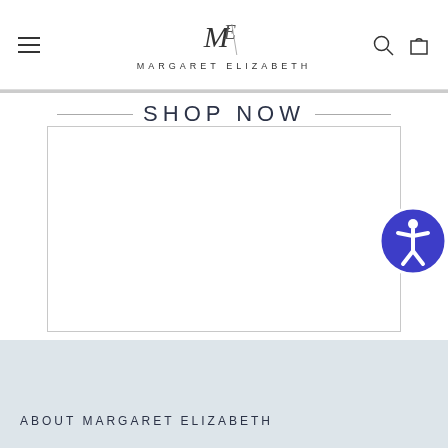Margaret Elizabeth — navigation header with logo, hamburger menu, search and cart icons
SHOP NOW
[Figure (other): Empty white rectangular box below SHOP NOW heading, outlined with a light gray border]
[Figure (other): Accessibility widget icon — blue circle with white human figure (universal accessibility symbol)]
ABOUT MARGARET ELIZABETH